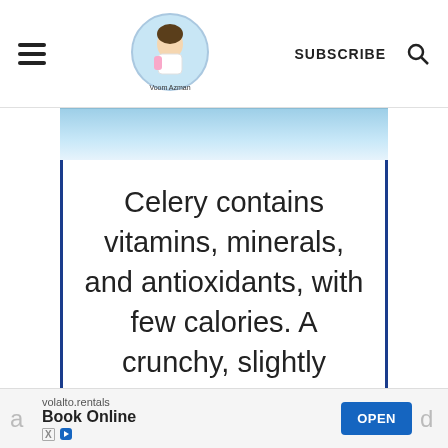≡  [Logo: Voom Azman]  SUBSCRIBE  🔍
[Figure (photo): Partial blue-toned food photo strip at top of article content]
Celery contains vitamins, minerals, and antioxidants, with few calories. A crunchy, slightly sweet celery salad is a great
a  volalto.rentals Book Online [X] [play]  OPEN  d